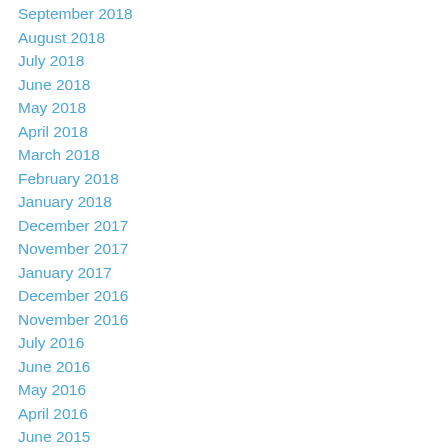September 2018
August 2018
July 2018
June 2018
May 2018
April 2018
March 2018
February 2018
January 2018
December 2017
November 2017
January 2017
December 2016
November 2016
July 2016
June 2016
May 2016
April 2016
June 2015
March 2015